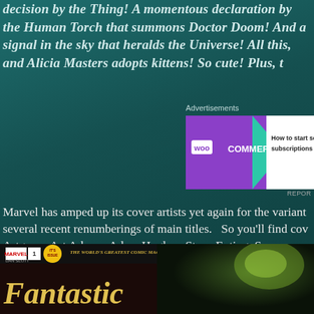decision by the Thing!  A momentous declaration by the Human Torch that summons Doctor Doom!  And a signal in the sky that heralds the Universe!  All this, and Alicia Masters adopts kittens!  So cute!  Plus, t
Advertisements
[Figure (screenshot): WooCommerce advertisement banner - purple background with WooCommerce logo on left, teal triangle accent, white right side with text 'How to start selling subscriptions online']
Marvel has amped up its cover artists yet again for the variant several recent renumberings of main titles.  So you'll find cov Artgerm, Art Adams, Adam Hughes, Steve Epting, Sara Pichelli, Mark Brooks, Skottie Young, Simone Bianchi, Joe Quesada, Eri Ramos, Nick Bradshaw, Mike Wieringo, Jack Kirby, John Cassad Walt Simonson, Rob Liefeld, Jen Bartel, Will Sliney, Mike Mayh many more–more than 55 including virgin art and blank cover from archives of artists of the past, plus some homages to com past.
[Figure (photo): Fantastic Four #1 comic book cover showing the Fantastic Four logo, Marvel branding, issue number 1, and the title 'Fantastic' in large stylized letters. Dan Slott credit shown.]
[Figure (photo): Partial view of another comic book cover with green/dark tones]